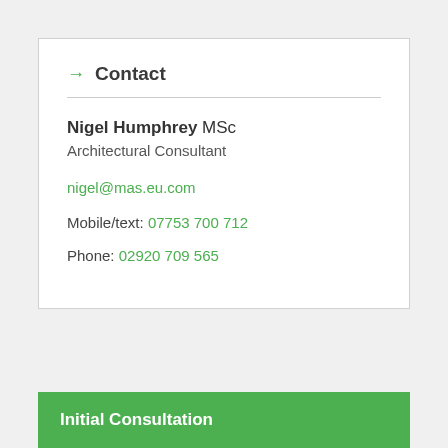→ Contact
Nigel Humphrey MSc
Architectural Consultant
nigel@mas.eu.com
Mobile/text: 07753 700 712
Phone: 02920 709 565
Initial Consultation